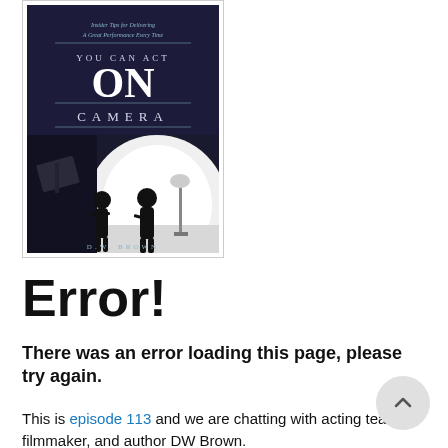[Figure (photo): Book cover: 'You Can Act On Camera' by D.W. Brown — dark cover with silhouettes of people in a film studio with bright white background lighting; top text reads 'Insider Tips for Delivering A Great Performance Every Time']
Error!
There was an error loading this page, please try again.
This is episode 113 and we are chatting with acting teacher, filmmaker, and author DW Brown.